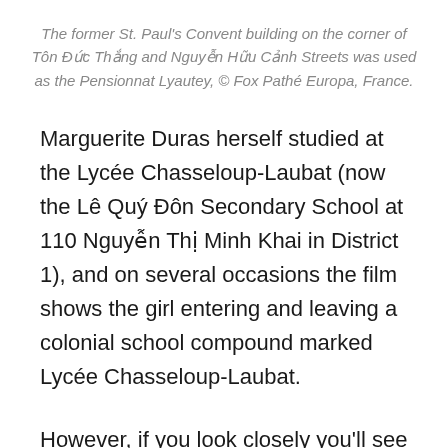The former St. Paul's Convent building on the corner of Tôn Đức Thắng and Nguyễn Hữu Cảnh Streets was used as the Pensionnat Lyautey, © Fox Pathé Europa, France.
Marguerite Duras herself studied at the Lycée Chasseloup-Laubat (now the Lê Quý Đôn Secondary School at 110 Nguyễn Thị Minh Khai in District 1), and on several occasions the film shows the girl entering and leaving a colonial school compound marked Lycée Chasseloup-Laubat.
However, if you look closely you'll see that